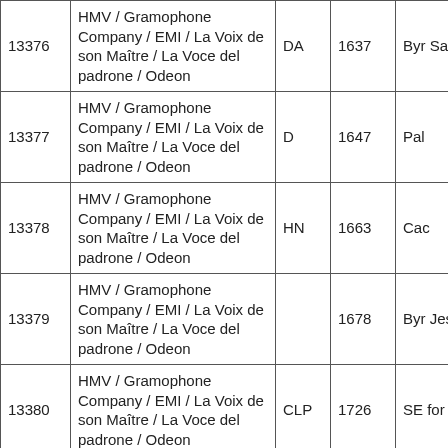| ID | Label | Code | Year | Info |
| --- | --- | --- | --- | --- |
| 13376 | HMV / Gramophone Company / EMI / La Voix de son Maître / La Voce del padrone / Odeon | DA | 1637 | Byr Sal |
| 13377 | HMV / Gramophone Company / EMI / La Voix de son Maître / La Voce del padrone / Odeon | D | 1647 | Pal |
| 13378 | HMV / Gramophone Company / EMI / La Voix de son Maître / La Voce del padrone / Odeon | HN | 1663 | Cac |
| 13379 | HMV / Gramophone Company / EMI / La Voix de son Maître / La Voce del padrone / Odeon |  | 1678 | Byr Jesu |
| 13380 | HMV / Gramophone Company / EMI / La Voix de son Maître / La Voce del padrone / Odeon | CLP | 1726 | SE for |